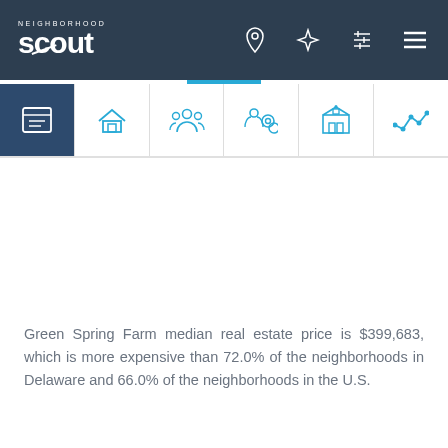NEIGHBORHOOD scout
[Figure (screenshot): Navigation icon bar with six category icons: overview (list/calendar), real estate (house), demographics (people), crime (handcuffs/location), schools (building), and trends (line chart). The location icon tab has a blue underline indicator. The overview tab has a dark blue background.]
Green Spring Farm median real estate price is $399,683, which is more expensive than 72.0% of the neighborhoods in Delaware and 66.0% of the neighborhoods in the U.S.